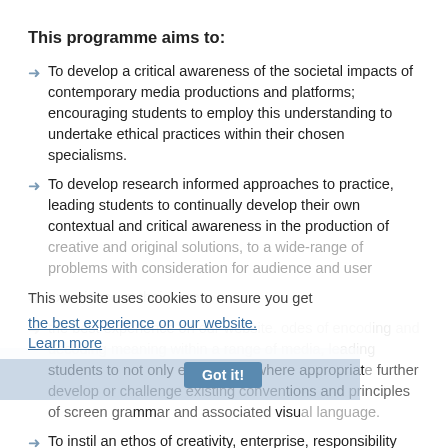This programme aims to:
To develop a critical awareness of the societal impacts of contemporary media productions and platforms; encouraging students to employ this understanding to undertake ethical practices within their chosen specialisms.
To develop research informed approaches to practice, leading students to continually develop their own contextual and critical awareness in the production of creative and original solutions, to a wide-range of problems with consideration for audience and user experience at their core.
To develop an understanding of the modes of encoding and decoding meaning within a range of media, leading students to not only employ, but where appropriate further develop or challenge existing conventions and principles of screen grammar and associated visual language.
To instil an ethos of creativity, enterprise, responsibility and resourcefulness within students.